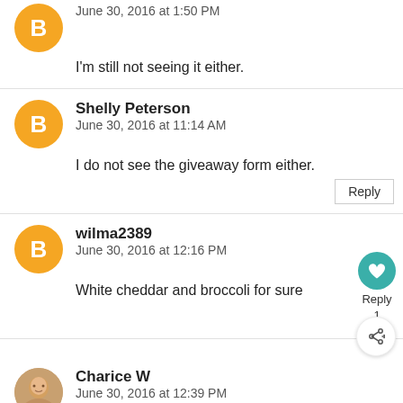June 30, 2016 at 1:50 PM
I'm still not seeing it either.
Shelly Peterson
June 30, 2016 at 11:14 AM
I do not see the giveaway form either.
Reply
wilma2389
June 30, 2016 at 12:16 PM
White cheddar and broccoli for sure
Reply
1
Charice W
June 30, 2016 at 12:39 PM